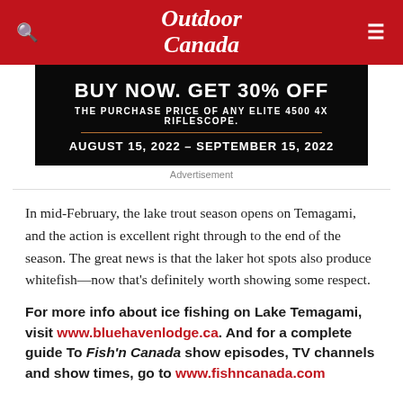Outdoor Canada
[Figure (other): Advertisement banner: BUY NOW. GET 30% OFF THE PURCHASE PRICE OF ANY ELITE 4500 4X RIFLESCOPE. AUGUST 15, 2022 – SEPTEMBER 15, 2022]
Advertisement
In mid-February, the lake trout season opens on Temagami, and the action is excellent right through to the end of the season. The great news is that the laker hot spots also produce whitefish—now that's definitely worth showing some respect.
For more info about ice fishing on Lake Temagami, visit www.bluehavenlodge.ca. And for a complete guide To Fish'n Canada show episodes, TV channels and show times, go to www.fishncanada.com